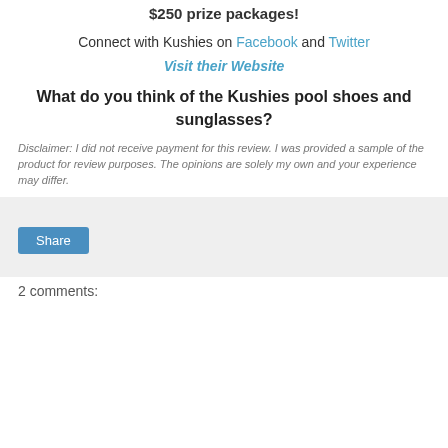Infant Toddler Sunglasses ($9.19) as part of one of the $250 prize packages!
Connect with Kushies on Facebook and Twitter
Visit their Website
What do you think of the Kushies pool shoes and sunglasses?
Disclaimer: I did not receive payment for this review. I was provided a sample of the product for review purposes. The opinions are solely my own and your experience may differ.
Share
2 comments: